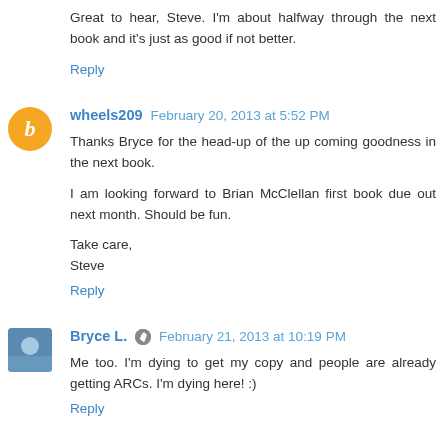Great to hear, Steve. I'm about halfway through the next book and it's just as good if not better.
Reply
wheels209  February 20, 2013 at 5:52 PM
Thanks Bryce for the head-up of the up coming goodness in the next book.

I am looking forward to Brian McClellan first book due out next month. Should be fun.

Take care,
Steve
Reply
Bryce L.  February 21, 2013 at 10:19 PM
Me too. I'm dying to get my copy and people are already getting ARCs. I'm dying here! :)
Reply